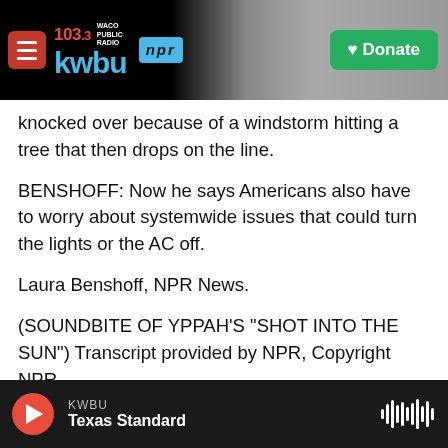[Figure (screenshot): KWBU 103.3 Waco Public Radio NPR header with Donate button and industrial background photo]
knocked over because of a windstorm hitting a tree that then drops on the line.
BENSHOFF: Now he says Americans also have to worry about systemwide issues that could turn the lights or the AC off.
Laura Benshoff, NPR News.
(SOUNDBITE OF YPPAH'S "SHOT INTO THE SUN") Transcript provided by NPR, Copyright NPR.
Latest from NPR
KWBU  Texas Standard